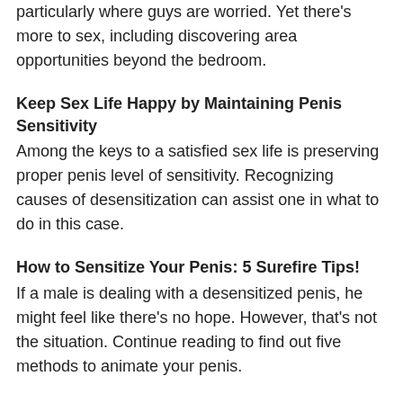particularly where guys are worried. Yet there's more to sex, including discovering area opportunities beyond the bedroom.
Keep Sex Life Happy by Maintaining Penis Sensitivity
Among the keys to a satisfied sex life is preserving proper penis level of sensitivity. Recognizing causes of desensitization can assist one in what to do in this case.
How to Sensitize Your Penis: 5 Surefire Tips!
If a male is dealing with a desensitized penis, he might feel like there's no hope. However, that's not the situation. Continue reading to find out five methods to animate your penis.
What to Do for Broken Penis Pain
If it's not a bone, how are males experiencing busted penis discomfort? Allow's talk penis cracks, damaged bones, as well as how to manage the scenario if it takes place.